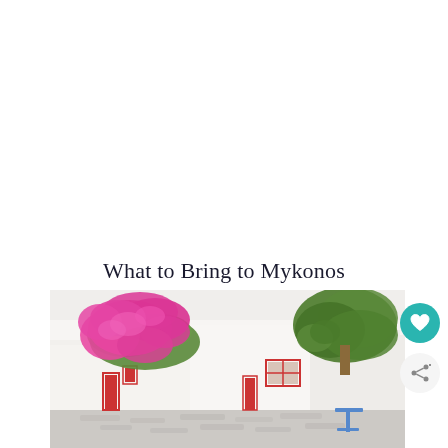What to Bring to Mykonos
[Figure (photo): A whitewashed alleyway in Mykonos with vibrant pink bougainvillea flowers cascading over walls, green trees, red-trimmed doors and windows, and a blue table or stand visible in the lower right. Characteristic Cycladic architecture.]